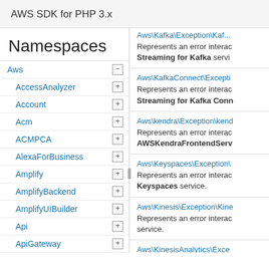AWS SDK for PHP 3.x
Namespaces
Aws
AccessAnalyzer
Account
Acm
ACMPCA
AlexaForBusiness
Amplify
AmplifyBackend
AmplifyUIBuilder
Api
ApiGateway
ApiGatewayManagementApi
Represents an error interacting with the Streaming for Kafka service
Aws\KafkaConnect\Excepti... Represents an error interacting with the Streaming for Kafka Conn...
Aws\kendra\Exception\kend... Represents an error interacting with AWSKendraFrontendServ...
Aws\Keyspaces\Exception\... Represents an error interacting with the Keyspaces service.
Aws\Kinesis\Exception\Kine... Represents an error interacting with the service.
Aws\KinesisAnalytics\Exce... Represents an error interacting with the Kinesis Analytics service.